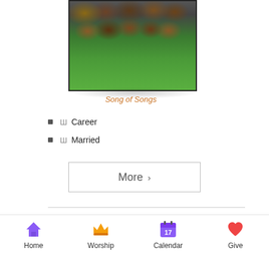[Figure (photo): Group photo of many people gathered outdoors on a lawn in front of a building]
Song of Songs
Career
Married
More >
Home  Worship  Calendar  Give